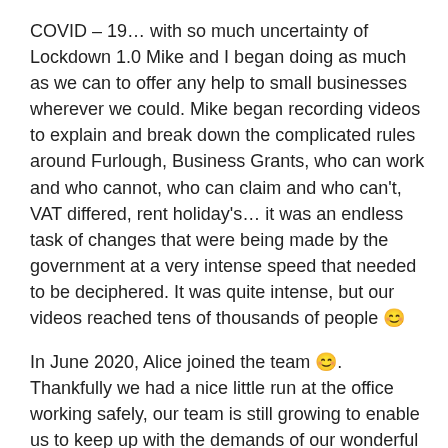COVID – 19… with so much uncertainty of Lockdown 1.0 Mike and I began doing as much as we can to offer any help to small businesses wherever we could. Mike began recording videos to explain and break down the complicated rules around Furlough, Business Grants, who can work and who cannot, who can claim and who can't, VAT differed, rent holiday's… it was an endless task of changes that were being made by the government at a very intense speed that needed to be deciphered. It was quite intense, but our videos reached tens of thousands of people 😊
In June 2020, Alice joined the team 😊. Thankfully we had a nice little run at the office working safely, our team is still growing to enable us to keep up with the demands of our wonderful clients 😊.
September 2020, we moved out of MENTA and into our very own office space at Manor Park, Great Barton. It was a very